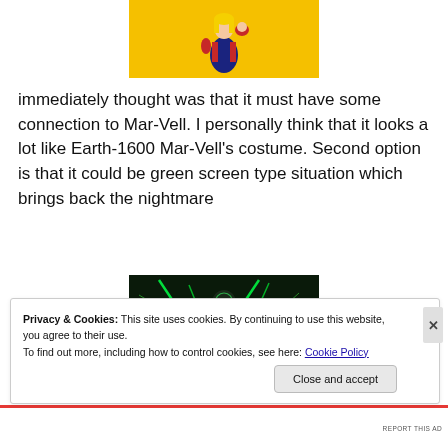[Figure (illustration): Illustration of a female superhero (Captain Marvel) in blue and red costume with fist raised, on a yellow background]
immediately thought was that it must have some connection to Mar-Vell. I personally think that it looks a lot like Earth-1600 Mar-Vell's costume. Second option is that it could be green screen type situation which brings back the nightmare
[Figure (illustration): Dark superhero figure surrounded by green lightning/electricity effects on dark background]
Privacy & Cookies: This site uses cookies. By continuing to use this website, you agree to their use.
To find out more, including how to control cookies, see here: Cookie Policy
Close and accept